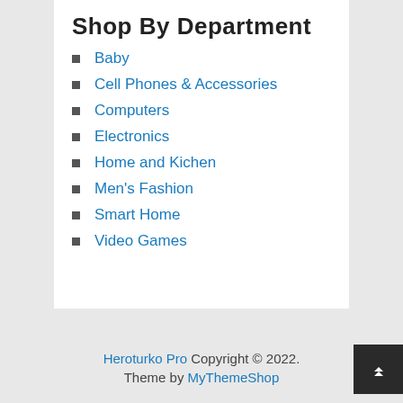Shop By Department
Baby
Cell Phones & Accessories
Computers
Electronics
Home and Kichen
Men's Fashion
Smart Home
Video Games
Heroturko Pro Copyright © 2022. Theme by MyThemeShop